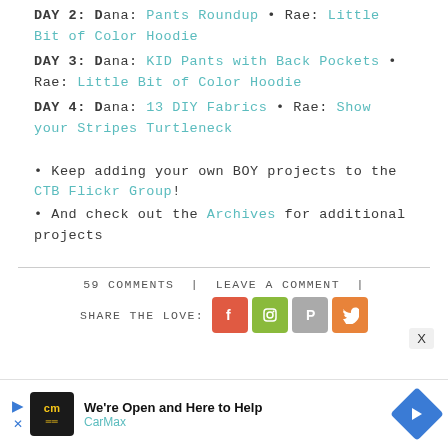DAY 2: Dana: Pants Roundup • Rae: Little Bit of Color Hoodie
DAY 3: Dana: KID Pants with Back Pockets • Rae: Little Bit of Color Hoodie
DAY 4: Dana: 13 DIY Fabrics • Rae: Show your Stripes Turtleneck
Keep adding your own BOY projects to the CTB Flickr Group!
And check out the Archives for additional projects
59 COMMENTS | LEAVE A COMMENT | SHARE THE LOVE:
[Figure (infographic): Social share icons: Facebook (red-orange), Instagram (green), Pinterest (grey), Twitter (orange)]
[Figure (infographic): CarMax advertisement banner: We're Open and Here to Help]